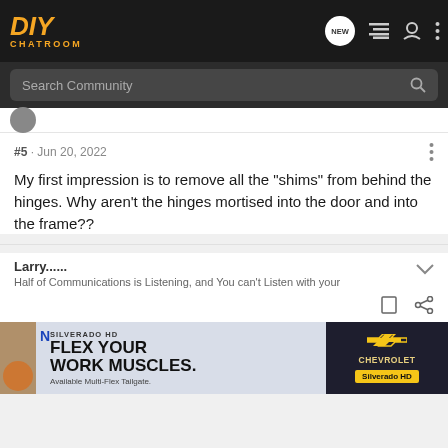DIY CHATROOM
Search Community
#5 · Jun 20, 2022
My first impression is to remove all the "shims" from behind the hinges. Why aren't the hinges mortised into the door and into the frame??
Larry......
Half of Communications is Listening, and You can't Listen with your
[Figure (photo): Silverado HD truck advertisement: FLEX YOUR WORK MUSCLES. Available Multi-Flex Tailgate. Chevrolet Silverado HD.]